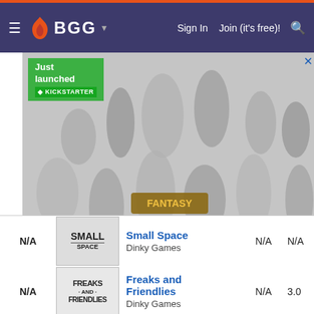BGG navigation bar with Sign In, Join (it's free)!, and search
[Figure (photo): Advertisement banner: fantasy miniatures Kickstarter campaign showing over 200 28mm and 75mm fantasy miniatures with text 'Just launched KICKSTARTER' and 'OVER 200 STUNNING 28MM AND 75MM FANTASY MINIATURES']
| Rank | Image | Title / Publisher | N/A | N/A |
| --- | --- | --- | --- | --- |
| N/A | Small Space logo | Small Space
Dinky Games | N/A | N/A |
| N/A | Freaks and Friendlies logo | Freaks and Friendlies
Dinky Games | N/A | 3.0 |
| N/A | Six Gun logo | Six Gun
1PG | N/A | 6.0 |